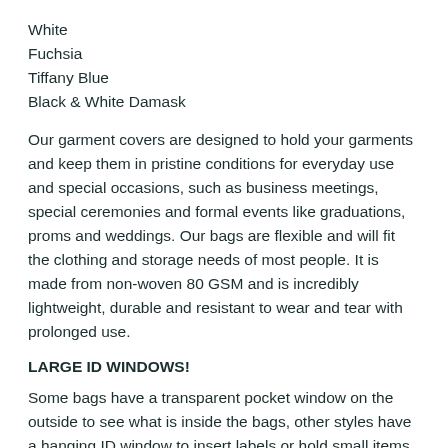White
Fuchsia
Tiffany Blue
Black & White Damask
Our garment covers are designed to hold your garments and keep them in pristine conditions for everyday use and special occasions, such as business meetings, special ceremonies and formal events like graduations, proms and weddings. Our bags are flexible and will fit the clothing and storage needs of most people. It is made from non-woven 80 GSM and is incredibly lightweight, durable and resistant to wear and tear with prolonged use.
LARGE ID WINDOWS!
Some bags have a transparent pocket window on the outside to see what is inside the bags, other styles have a hanging ID window to insert labels or hold small items. This makes the bags great for closet storage and organization, and it is also perfect for stores, tailors and other locations with many garments from numerous customers.